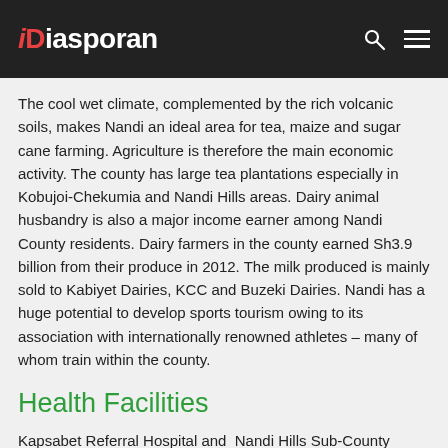iDiasporan
The cool wet climate, complemented by the rich volcanic soils, makes Nandi an ideal area for tea, maize and sugar cane farming. Agriculture is therefore the main economic activity. The county has large tea plantations especially in Kobujoi-Chekumia and Nandi Hills areas. Dairy animal husbandry is also a major income earner among Nandi County residents. Dairy farmers in the county earned Sh3.9 billion from their produce in 2012. The milk produced is mainly sold to Kabiyet Dairies, KCC and Buzeki Dairies. Nandi has a huge potential to develop sports tourism owing to its association with internationally renowned athletes – many of whom train within the county.
Health Facilities
Kapsabet Referral Hospital and  Nandi Hills Sub-County hospitals are the two premier healthcare facilities in Nandi County. The county has nine health centres and 45 dispensaries. With a doctor to population ratio of 1:94,000, there is certainly a need for more healthcare facilities to be established to cater for